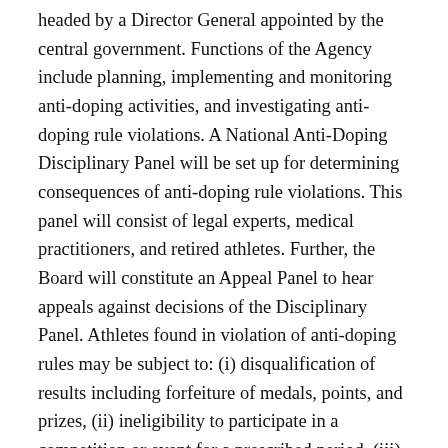headed by a Director General appointed by the central government. Functions of the Agency include planning, implementing and monitoring anti-doping activities, and investigating anti-doping rule violations. A National Anti-Doping Disciplinary Panel will be set up for determining consequences of anti-doping rule violations. This panel will consist of legal experts, medical practitioners, and retired athletes. Further, the Board will constitute an Appeal Panel to hear appeals against decisions of the Disciplinary Panel. Athletes found in violation of anti-doping rules may be subject to: (i) disqualification of results including forfeiture of medals, points, and prizes, (ii) ineligibility to participate in a competition or event for a prescribed period, (iii) financial sanctions, and (iv) other consequences as may be prescribed. Consequences for team sports will be specified by regulations.
Initially, the Bill did not have provisions for protected